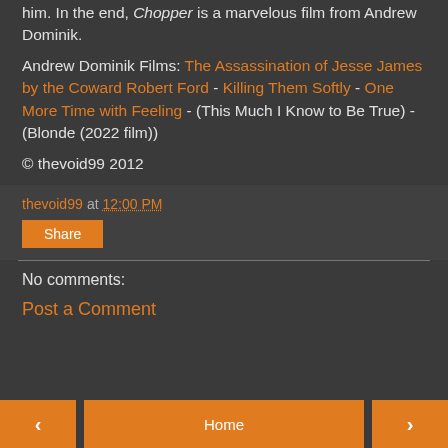him. In the end, Chopper is a marvelous film from Andrew Dominik.
Andrew Dominik Films: The Assassination of Jesse James by the Coward Robert Ford - Killing Them Softly - One More Time with Feeling - (This Much I Know to Be True) - (Blonde (2022 film))
© thevoid99 2012
thevoid99 at 12:00 PM
Share
No comments:
Post a Comment
‹  Home  ›